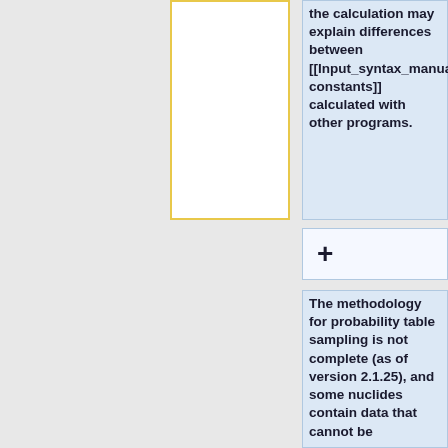the calculation may explain differences between [[Input_syntax_manual#set_gcu|group constants]] calculated with other programs.
+
The methodology for probability table sampling is not complete (as of version 2.1.25), and some nuclides contain data that cannot be